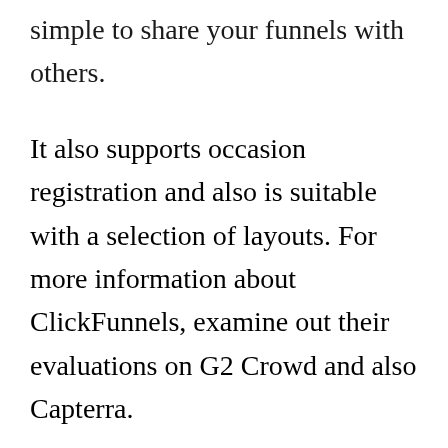simple to share your funnels with others.
It also supports occasion registration and also is suitable with a selection of layouts. For more information about ClickFunnels, examine out their evaluations on G2 Crowd and also Capterra.
The ClickFunnels system is extremely simple to use. You can obtain assist from ClickFunnels’ weekly peer review Hackathon. There are lessons as well as video clips that teach you just how to develop a sales funnel swiftly and conveniently.